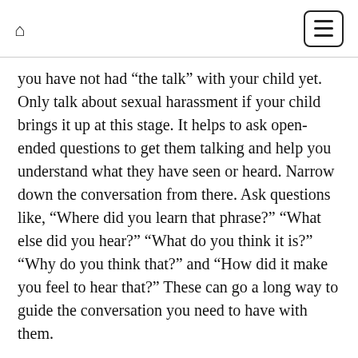home menu
you have not had “the talk” with your child yet. Only talk about sexual harassment if your child brings it up at this stage. It helps to ask open-ended questions to get them talking and help you understand what they have seen or heard. Narrow down the conversation from there. Ask questions like, “Where did you learn that phrase?” “What else did you hear?” “What do you think it is?” “Why do you think that?” and “How did it make you feel to hear that?” These can go a long way to guide the conversation you need to have with them.
Teach them about the news and how we learn about important events around the world. Make sure they understand it is always OK to ask questions about a topic. Often, young children sense adults are angry or upset and can feel like it